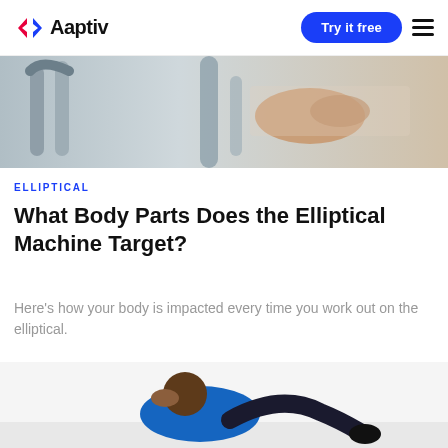Aaptiv | Try it free
[Figure (photo): Close-up of elliptical machine handles with a hand gripping, gym equipment background]
ELLIPTICAL
What Body Parts Does the Elliptical Machine Target?
Here's how your body is impacted every time you work out on the elliptical.
[Figure (photo): Person doing sit-ups or ab exercises on the floor, wearing a blue shirt]